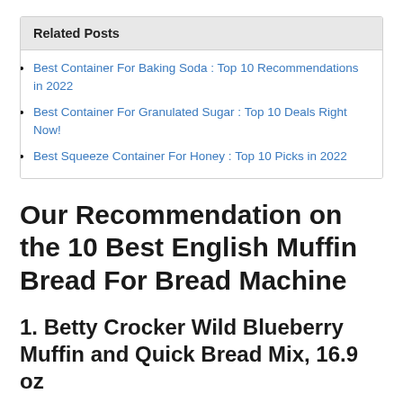Related Posts
Best Container For Baking Soda : Top 10 Recommendations in 2022
Best Container For Granulated Sugar : Top 10 Deals Right Now!
Best Squeeze Container For Honey : Top 10 Picks in 2022
Our Recommendation on the 10 Best English Muffin Bread For Bread Machine
1. Betty Crocker Wild Blueberry Muffin and Quick Bread Mix, 16.9 oz